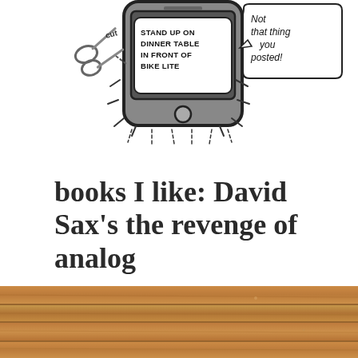[Figure (illustration): Hand-drawn cartoon illustration of a smartphone with scissors cutting a cord, text 'STAND UP ON DINNER TABLE IN FRONT OF BIKE LITE' inside a speech bubble on the phone, and a speech bubble on the right saying 'Not that thing you posted!']
books I like: David Sax's the revenge of analog
January 12, 2017
Patricia Kambitsch
Leave a comment
[Figure (photo): Close-up photo of wooden floorboards with warm brown tones]